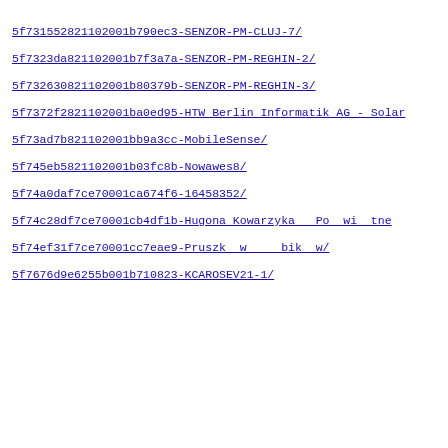5f731552821102001b790ec3-SENZOR-PM-CLUJ-7/
5f7323da821102001b7f3a7a-SENZOR-PM-REGHIN-2/
5f732630821102001b80379b-SENZOR-PM-REGHIN-3/
5f7372f2821102001ba0ed95-HTW Berlin Informatik AG - Solar
5f73ad7b821102001bb9a3cc-MobileSense/
5f745eb5821102001b03fc8b-Nowawes8/
5f74a0daf7ce70001ca674f6-16458352/
5f74c28df7ce70001cb4df1b-Hugona Kowarzyka   Po  wi  tne
5f74ef31f7ce70001cc7eae9-Pruszk  w     bik  w/
5f7676d9e6255b001b710823-KCAROSEV21-1/